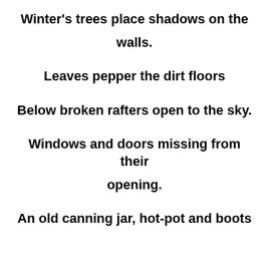Winter's trees place shadows on the walls.
Leaves pepper the dirt floors
Below broken rafters open to the sky.
Windows and doors missing from their opening.
An old canning jar, hot-pot and boots